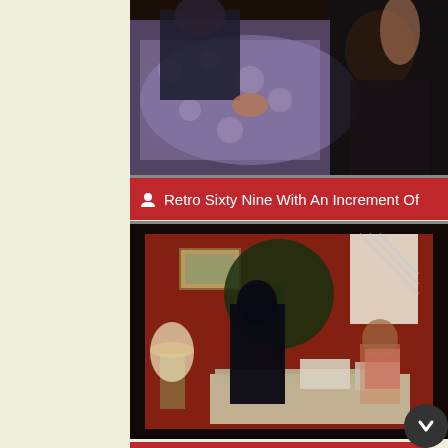[Figure (photo): Video thumbnail showing two people lying down, one in a floral dress, vintage/retro style scene]
Retro Sixty Nine With An Increment Of
[Figure (photo): Video thumbnail showing a vintage room scene with red walls, a lamp, a plant, and two figures near a bed/sofa]